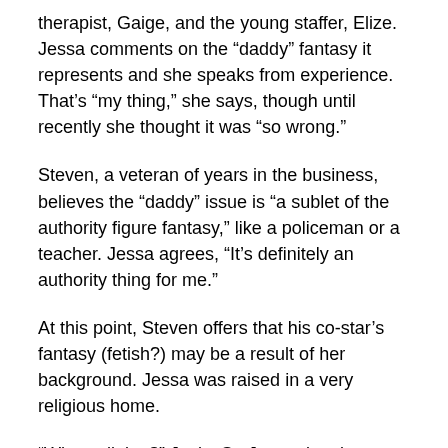therapist, Gaige, and the young staffer, Elize. Jessa comments on the “daddy” fantasy it represents and she speaks from experience. That’s “my thing,” she says, though until recently she thought it was “so wrong.”
Steven, a veteran of years in the business, believes the “daddy” issue is “a sublet of the authority figure fantasy,” like a policeman or a teacher. Jessa agrees, “It’s definitely an authority thing for me.”
At this point, Steven offers that his co-star’s fantasy (fetish?) may be a result of her background. Jessa was raised in a very religious home.
“What religion?” Jacky St. James inquires.
“Christian,” the A-lister responds, but offers no information beyond that. Growing up in an environment similar to